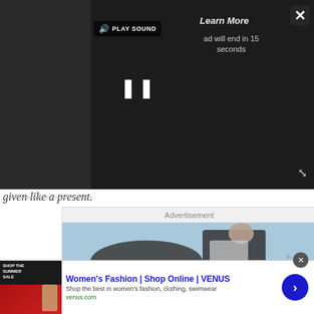[Figure (screenshot): Video ad overlay with dark background showing 'PLAY SOUND' button, 'Learn More' text, 'ad will end in 15 seconds' countdown, pause button, close (X) button, and expand arrows icon]
given like a present.
[Figure (screenshot): Advertisement box with label 'Advertisement', image of person handing tablet, headline 'Find new online customers', Think With Google branding and Open button]
[Figure (screenshot): Bottom banner ad for Women's Fashion | Shop Online | VENUS with Summer Sale thumbnail, description 'Shop the best in women's fashion, clothing, swimwear', venus.com URL, and blue arrow button]